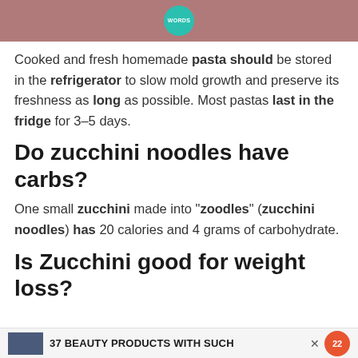[Figure (photo): Top portion of an image showing a dark rose/mauve colored fabric or clothing item, with a teal circular badge/logo in the center top area]
Cooked and fresh homemade pasta should be stored in the refrigerator to slow mold growth and preserve its freshness as long as possible. Most pastas last in the fridge for 3–5 days.
Do zucchini noodles have carbs?
One small zucchini made into “zoodles” (zucchini noodles) has 20 calories and 4 grams of carbohydrate.
Is Zucchini good for weight loss?
37 BEAUTY PRODUCTS WITH SUCH